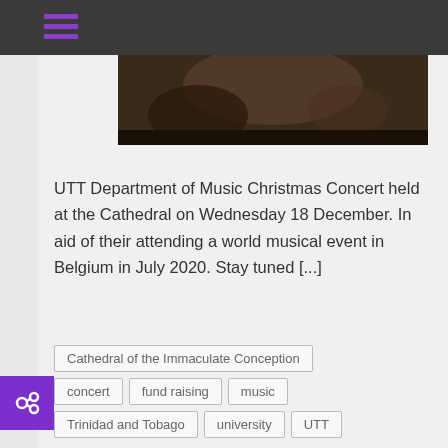≡ (navigation menu)
[Figure (photo): A dark photograph showing people at what appears to be a music concert or rehearsal]
UTT Department of Music Christmas Concert held at the Cathedral on Wednesday 18 December. In aid of their attending a world musical event in Belgium in July 2020. Stay tuned [...]
Cathedral of the Immaculate Conception
concert
fund raising
music
Trinidad and Tobago
university
UTT